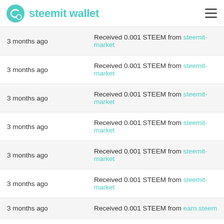steemit wallet
| Date | Transaction |
| --- | --- |
| 3 months ago | Received 0.001 STEEM from steemit-market |
| 3 months ago | Received 0.001 STEEM from steemit-market |
| 3 months ago | Received 0.001 STEEM from steemit-market |
| 3 months ago | Received 0.001 STEEM from steemit-market |
| 3 months ago | Received 0.001 STEEM from steemit-market |
| 3 months ago | Received 0.001 STEEM from steemit-market |
| 3 months ago | Received 0.001 STEEM from earn.steem |
| 3 months ago | Received 0.001 STEEM from alexmove.witness |
| 3 months ago | Received 0.001 STEEM from alexmove.witness |